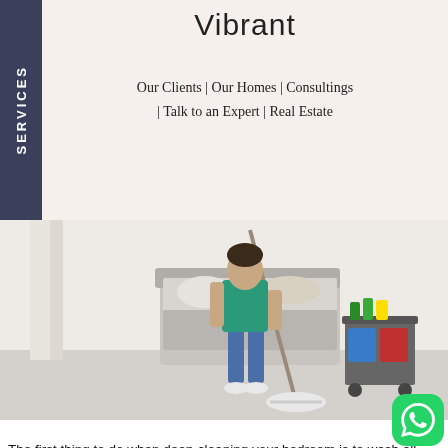SERVICES
Vibrant
Our Clients | Our Homes | Consultings | Talk to an Expert | Real Estate
[Figure (photo): A person in a green apron mopping a bedroom floor next to a cleaning supply cart with blue and red buckets]
The first thing to do when deep-cleaning your bedroom is to wash all bedding, including sheets, pillowcases, and blankets. Flip your mattress. To freshen it up, apply a bit of baking soda, and vacuum it after 45 minutes. Make sure to clean surfaces, including headboards and ceiling fans. Mop